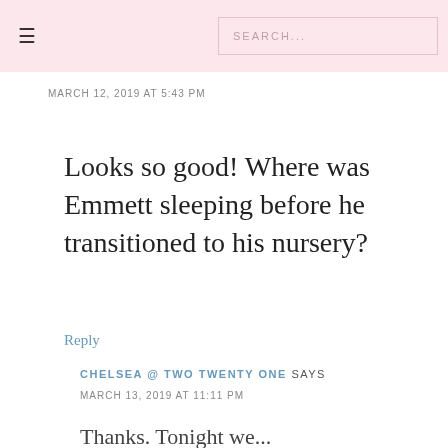≡  SEARCH...
MARCH 12, 2019 AT 5:43 PM
Looks so good! Where was Emmett sleeping before he transitioned to his nursery?
Reply
CHELSEA @ TWO TWENTY ONE SAYS
MARCH 13, 2019 AT 11:11 PM
Thanks. Tonight we...